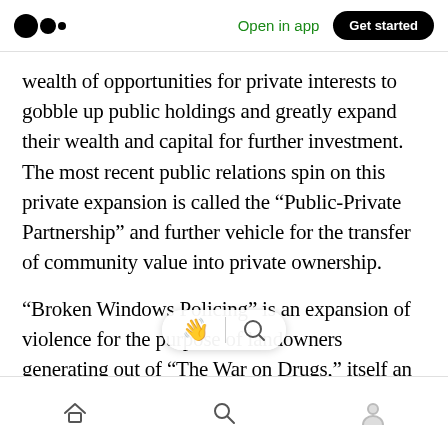Medium logo | Open in app | Get started
wealth of opportunities for private interests to gobble up public holdings and greatly expand their wealth and capital for further investment. The most recent public relations spin on this private expansion is called the “Public-Private Partnership” and further vehicle for the transfer of community value into private ownership.
“Broken Windows Policing” is an expansion of violence for the purpose of landowners generating out of “The War on Drugs,” itself an instrument of poli…on. That, as I see it was a direct response to the threat to the
Home | Search | Profile